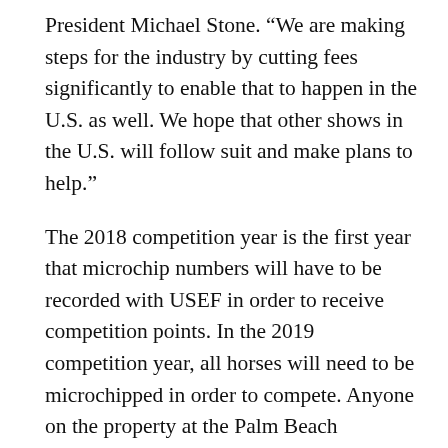President Michael Stone. “We are making steps for the industry by cutting fees significantly to enable that to happen in the U.S. as well. We hope that other shows in the U.S. will follow suit and make plans to help.”
The 2018 competition year is the first year that microchip numbers will have to be recorded with USEF in order to receive competition points. In the 2019 competition year, all horses will need to be microchipped in order to compete. Anyone on the property at the Palm Beach International Equestrian Center who wants to bring in papers and receive office help with the submission of these papers for age verification is welcome.
For all WEF competitors, any horse not officially